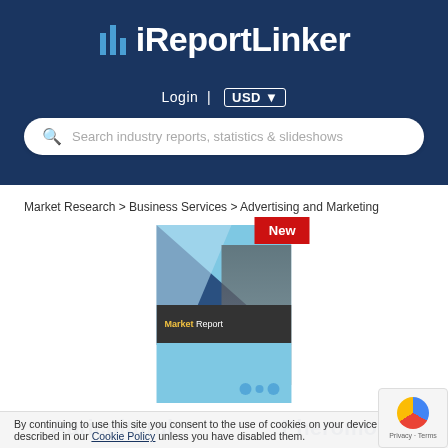iReportLinker
Login | USD
Search industry reports, statistics & slideshows
Market Research > Business Services > Advertising and Marketing
[Figure (illustration): Market Report book cover with blue geometric design, building image, and 'New' red badge]
Aaricultural   Pheromon
By continuing to use this site you consent to the use of cookies on your device as described in our Cookie Policy unless you have disabled them.